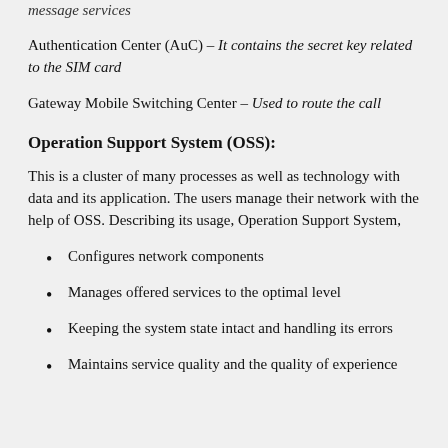message services
Authentication Center (AuC) – It contains the secret key related to the SIM card
Gateway Mobile Switching Center – Used to route the call
Operation Support System (OSS):
This is a cluster of many processes as well as technology with data and its application. The users manage their network with the help of OSS. Describing its usage, Operation Support System,
Configures network components
Manages offered services to the optimal level
Keeping the system state intact and handling its errors
Maintains service quality and the quality of experience